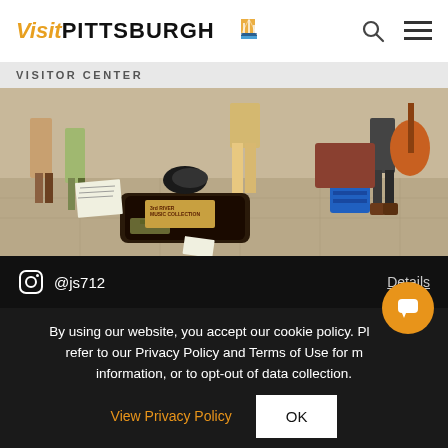Visit PITTSBURGH [logo with bridge icon]
VISITOR CENTER
[Figure (photo): Outdoor street scene with musicians; open guitar case on pavement with a handwritten sign reading '3rd River Music Collection', people standing around with instruments, sunny day]
@js712   Details
By using our website, you accept our cookie policy. Please refer to our Privacy Policy and Terms of Use for more information, or to opt-out of data collection.
View Privacy Policy   OK